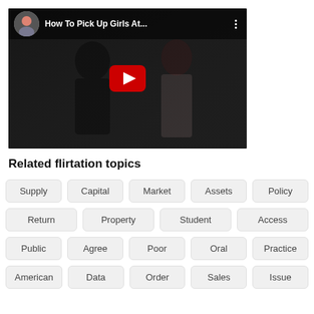[Figure (screenshot): YouTube video thumbnail showing two people (a man and a woman) in dark setting with a red YouTube play button in the center. The video title reads 'How To Pick Up Girls At...' with a channel avatar and three-dot menu icon in the top bar.]
Related flirtation topics
Supply
Capital
Market
Assets
Policy
Return
Property
Student
Access
Public
Agree
Poor
Oral
Practice
American
Data
Order
Sales
Issue